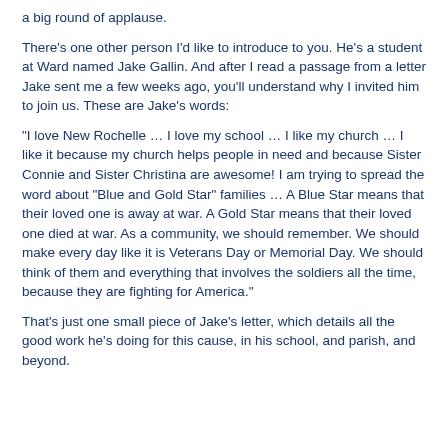a big round of applause.
There's one other person I'd like to introduce to you. He's a student at Ward named Jake Gallin. And after I read a passage from a letter Jake sent me a few weeks ago, you'll understand why I invited him to join us. These are Jake's words:
"I love New Rochelle … I love my school … I like my church … I like it because my church helps people in need and because Sister Connie and Sister Christina are awesome! I am trying to spread the word about "Blue and Gold Star" families … A Blue Star means that their loved one is away at war. A Gold Star means that their loved one died at war. As a community, we should remember. We should make every day like it is Veterans Day or Memorial Day. We should think of them and everything that involves the soldiers all the time, because they are fighting for America."
That's just one small piece of Jake's letter, which details all the good work he's doing for this cause, in his school, and parish, and beyond.